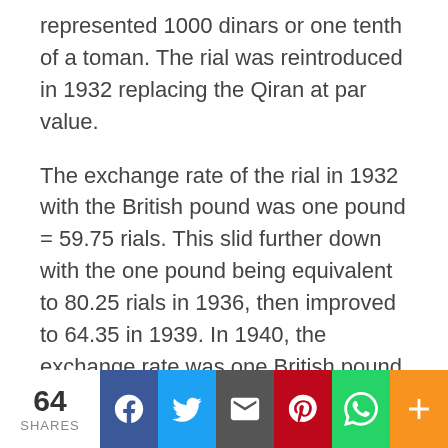represented 1000 dinars or one tenth of a toman. The rial was reintroduced in 1932 replacing the Qiran at par value.
The exchange rate of the rial in 1932 with the British pound was one pound = 59.75 rials. This slid further down with the one pound being equivalent to 80.25 rials in 1936, then improved to 64.35 in 1939. In 1940, the exchange rate was one British pound equaled 68.8 rials and then jumped to 141 rials in 1941 and then 129 in 1942.
Iran then switched its currency peg to the U.S dollar in 1945 starting with an exchange rate of
64 SHARES | Facebook | Twitter | Email | Pinterest | WhatsApp | More